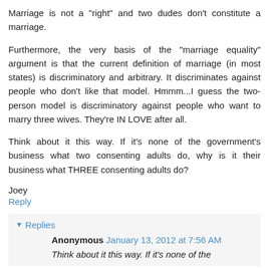Marriage is not a "right" and two dudes don't constitute a marriage.
Furthermore, the very basis of the "marriage equality" argument is that the current definition of marriage (in most states) is discriminatory and arbitrary. It discriminates against people who don't like that model. Hmmm...I guess the two-person model is discriminatory against people who want to marry three wives. They're IN LOVE after all.
Think about it this way. If it's none of the government's business what two consenting adults do, why is it their business what THREE consenting adults do?
Joey
Reply
Replies
Anonymous January 13, 2012 at 7:56 AM
Think about it this way. If it's none of the